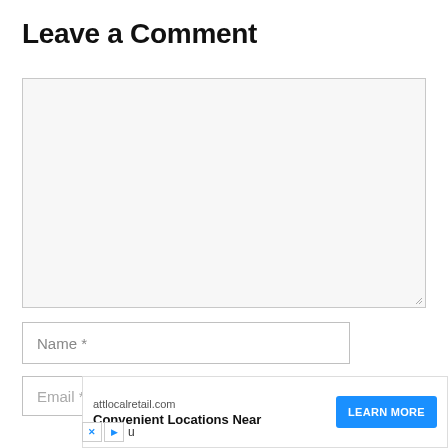Leave a Comment
[Figure (screenshot): Empty comment textarea input box with light gray background and resize handle at bottom-right]
[Figure (screenshot): Name text input field with placeholder text 'Name *']
[Figure (screenshot): Email text input field with placeholder text 'Email *' and a gray scroll/submit button on the right]
[Figure (screenshot): Advertisement banner: attlocalretail.com - Convenient Locations Near, with LEARN MORE button in blue, and X and play icons at the bottom left with 'u' text]